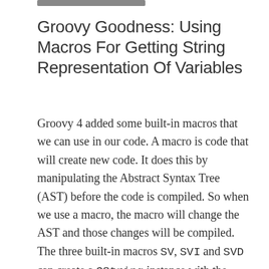Groovy Goodness: Using Macros For Getting String Representation Of Variables
Groovy 4 added some built-in macros that we can use in our code. A macro is code that will create new code. It does this by manipulating the Abstract Syntax Tree (AST) before the code is compiled. So when we use a macro, the macro will change the AST and those changes will be compiled. The three built-in macros SV, SVI and SVD can create a GString instance with the names and values of the variables that